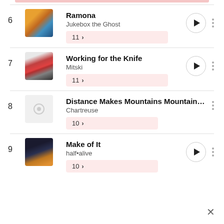6 Ramona - Jukebox the Ghost, 11 plays
7 Working for the Knife - Mitski, 11 plays
8 Distance Makes Mountains Mountains - In... - Chartreuse, 10 plays
9 Make of It - half•alive, 10 plays